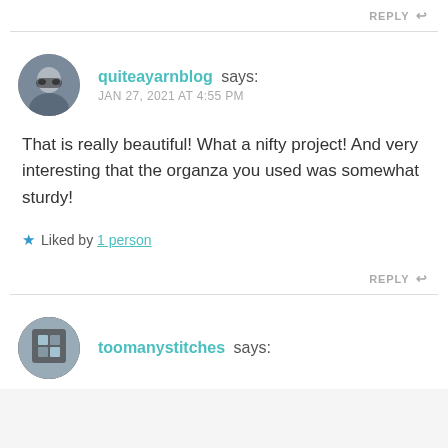REPLY ↩
quiteayarnblog says: JAN 27, 2021 AT 4:55 PM
That is really beautiful! What a nifty project! And very interesting that the organza you used was somewhat sturdy!
★ Liked by 1 person
REPLY ↩
toomanystitches says: